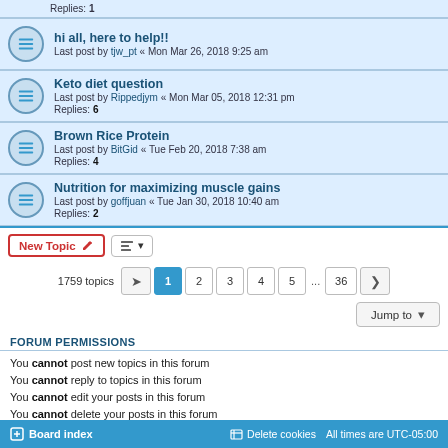Replies: 1
hi all, here to help!! — Last post by tjw_pt « Mon Mar 26, 2018 9:25 am
Keto diet question — Last post by Rippedjym « Mon Mar 05, 2018 12:31 pm — Replies: 6
Brown Rice Protein — Last post by BitGid « Tue Feb 20, 2018 7:38 am — Replies: 4
Nutrition for maximizing muscle gains — Last post by goffjuan « Tue Jan 30, 2018 10:40 am — Replies: 2
1759 topics  1 2 3 4 5 ... 36
Jump to
FORUM PERMISSIONS
You cannot post new topics in this forum
You cannot reply to topics in this forum
You cannot edit your posts in this forum
You cannot delete your posts in this forum
Board index   Delete cookies   All times are UTC-05:00